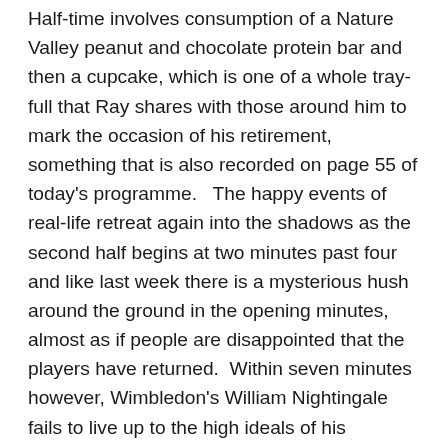Half-time involves consumption of a Nature Valley peanut and chocolate protein bar and then a cupcake, which is one of a whole tray-full that Ray shares with those around him to mark the occasion of his retirement, something that is also recorded on page 55 of today's programme.   The happy events of real-life retreat again into the shadows as the second half begins at two minutes past four and like last week there is a mysterious hush around the ground in the opening minutes, almost as if people are disappointed that the players have returned.  Within seven minutes however, Wimbledon's William Nightingale fails to live up to the high ideals of his namesake Florence and comes closer to wounding Wes Burns rather than offering succour and from the resultant penalty kick, Joe Piggott gives Town the lead, placing his penalty in the right-hand corner of the goal as Tzanev stupidly dives to the left.